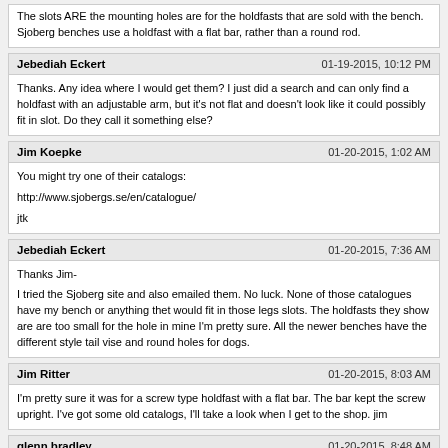The slots ARE the mounting holes are for the holdfasts that are sold with the bench. Sjoberg benches use a holdfast with a flat bar, rather than a round rod.
Jebediah Eckert
01-19-2015, 10:12 PM
Thanks. Any idea where I would get them? I just did a search and can only find a holdfast with an adjustable arm, but it's not flat and doesn't look like it could possibly fit in slot. Do they call it something else?
Jim Koepke
01-20-2015, 1:02 AM
You might try one of their catalogs:
http://www.sjobergs.se/en/catalogue/
jtk
Jebediah Eckert
01-20-2015, 7:36 AM
Thanks Jim-
I tried the Sjoberg site and also emailed them. No luck. None of those catalogues have my bench or anything thet would fit in those legs slots. The holdfasts they show are are too small for the hole in mine I'm pretty sure. All the newer benches have the different style tail vise and round holes for dogs.
Jim Ritter
01-20-2015, 8:03 AM
I'm pretty sure it was for a screw type holdfast with a flat bar. The bar kept the screw upright. I've got some old catalogs, I'll take a look when I get to the shop. jim
glenn bradley
01-20-2015, 8:48 AM